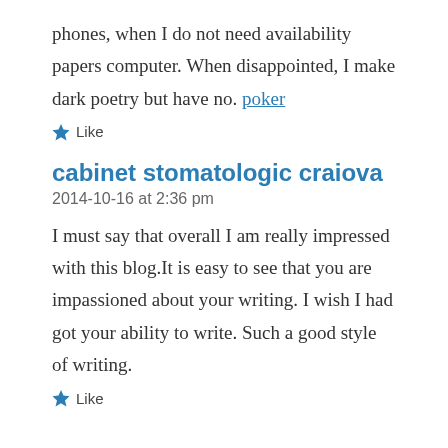phones, when I do not need availability papers computer. When disappointed, I make dark poetry but have no. poker
Like
cabinet stomatologic craiova
2014-10-16 at 2:36 pm
I must say that overall I am really impressed with this blog.It is easy to see that you are impassioned about your writing. I wish I had got your ability to write. Such a good style of writing.
Like